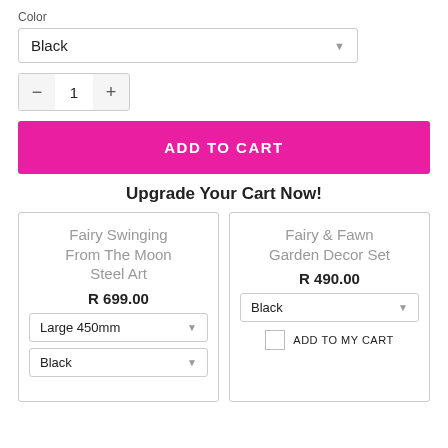Color
Black
1
ADD TO CART
Upgrade Your Cart Now!
Fairy Swinging From The Moon Steel Art
R 699.00
Large 450mm
Black
Fairy & Fawn Garden Decor Set
R 490.00
Black
ADD TO MY CART